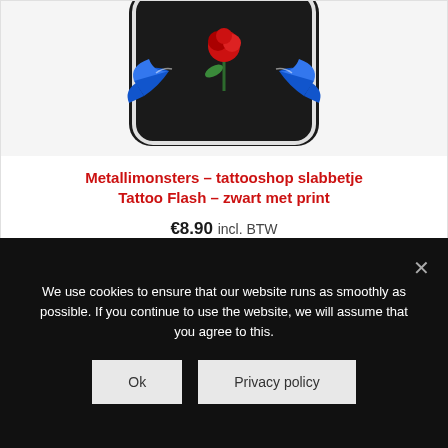[Figure (photo): Partial product image of a black baby bib with tattoo flash design showing blue swallows and a red rose on a black background, shown at top of product card]
Metallimonsters – tattooshop slabbetje Tattoo Flash – zwart met print
€8.90 incl. BTW
SALE!
We use cookies to ensure that our website runs as smoothly as possible. If you continue to use the website, we will assume that you agree to this.
Ok
Privacy policy